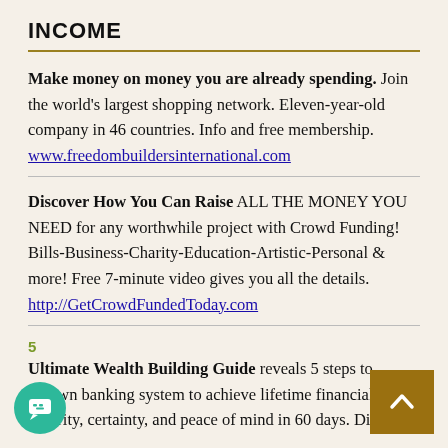INCOME
Make money on money you are already spending. Join the world's largest shopping network. Eleven-year-old company in 46 countries. Info and free membership.
www.freedombuildersinternational.com
Discover How You Can Raise ALL THE MONEY YOU NEED for any worthwhile project with Crowd Funding! Bills-Business-Charity-Education-Artistic-Personal & more! Free 7-minute video gives you all the details.
http://GetCrowdFundedToday.com
5
Ultimate Wealth Building Guide reveals 5 steps to cr own banking system to achieve lifetime financial security, certainty, and peace of mind in 60 days. Discover